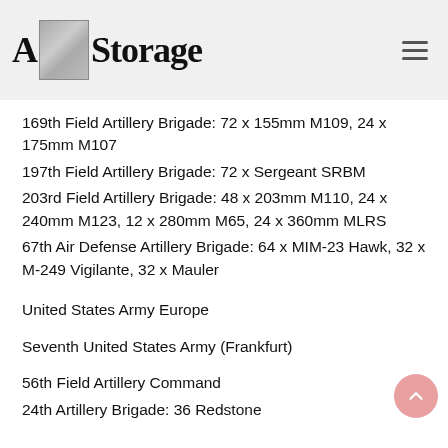A Storage
169th Field Artillery Brigade: 72 x 155mm M109, 24 x 175mm M107
197th Field Artillery Brigade: 72 x Sergeant SRBM
203rd Field Artillery Brigade: 48 x 203mm M110, 24 x 240mm M123, 12 x 280mm M65, 24 x 360mm MLRS
67th Air Defense Artillery Brigade: 64 x MIM-23 Hawk, 32 x M-249 Vigilante, 32 x Mauler
United States Army Europe
Seventh United States Army (Frankfurt)
56th Field Artillery Command
24th Artillery Brigade: 36 Redstone